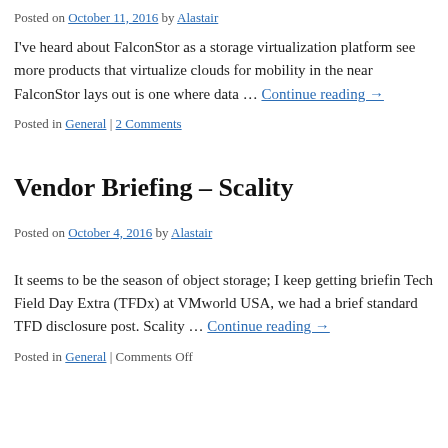Posted on October 11, 2016 by Alastair
I've heard about FalconStor as a storage virtualization platform... see more products that virtualize clouds for mobility in the near... FalconStor lays out is one where data … Continue reading →
Posted in General | 2 Comments
Vendor Briefing – Scality
Posted on October 4, 2016 by Alastair
It seems to be the season of object storage; I keep getting briefin... Tech Field Day Extra (TFDx) at VMworld USA, we had a brief... standard TFD disclosure post. Scality … Continue reading →
Posted in General | Comments Off